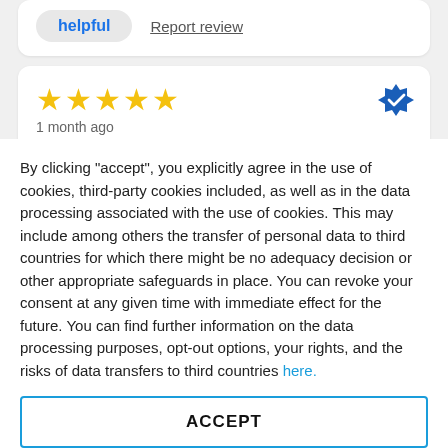helpful   Report review
[Figure (other): 5 gold stars rating with verified badge icon]
1 month ago
Super fast shipment!
By clicking "accept", you explicitly agree in the use of cookies, third-party cookies included, as well as in the data processing associated with the use of cookies. This may include among others the transfer of personal data to third countries for which there might be no adequacy decision or other appropriate safeguards in place. You can revoke your consent at any given time with immediate effect for the future. You can find further information on the data processing purposes, opt-out options, your rights, and the risks of data transfers to third countries here.
ACCEPT